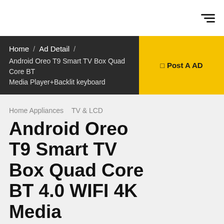≡ (hamburger menu icon)
Home / Ad Detail / Android Oreo T9 Smart TV Box Quad Core BT Media Player+Backlit keyboard
⊡ Post A AD
Home Appliances   TV & LCD
Android Oreo T9 Smart TV Box Quad Core BT 4.0 WIFI 4K Media Player+Backlit
$60.00 (Fixed)